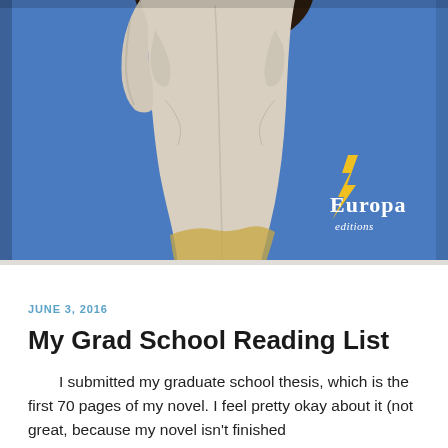[Figure (photo): Book cover showing a classical marble statue torso from behind (back view), with blue background featuring the Europa Editions logo (yellow figure and white text 'Europa editions').]
JUNE 3, 2016
My Grad School Reading List
I submitted my graduate school thesis, which is the first 70 pages of my novel. I feel pretty okay about it (not great, because my novel isn't finished